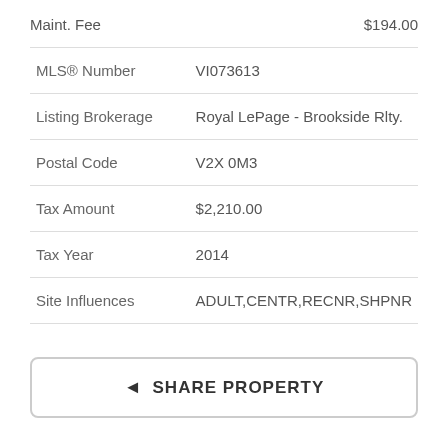Maint. Fee   $194.00
| Field | Value |
| --- | --- |
| MLS® Number | VI073613 |
| Listing Brokerage | Royal LePage - Brookside Rlty. |
| Postal Code | V2X 0M3 |
| Tax Amount | $2,210.00 |
| Tax Year | 2014 |
| Site Influences | ADULT,CENTR,RECNR,SHPNR |
SHARE PROPERTY